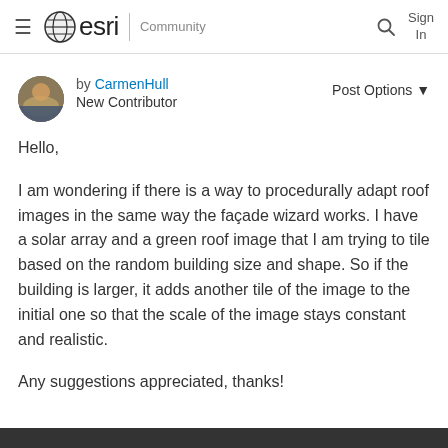esri Community | Sign In
by CarmenHull
New Contributor
Post Options ▼
Hello,

I am wondering if there is a way to procedurally adapt roof images in the same way the façade wizard works. I have a solar array and a green roof image that I am trying to tile based on the random building size and shape. So if the building is larger, it adds another tile of the image to the initial one so that the scale of the image stays constant and realistic.

Any suggestions appreciated, thanks!